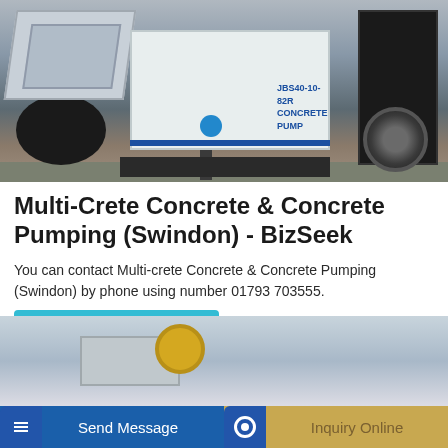[Figure (photo): A white concrete pump machine (JBS40-10-82R Concrete Pump) with hopper, black hoses/connectors, blue connector fitting, engine unit, and wheel, parked outdoors on paved ground.]
Multi-Crete Concrete & Concrete Pumping (Swindon) - BizSeek
You can contact Multi-crete Concrete & Concrete Pumping (Swindon) by phone using number 01793 703555.
Learn More
[Figure (photo): Partial view of construction/pumping equipment, showing a yellow cylindrical component against a light grey sky background.]
Send Message
Inquiry Online